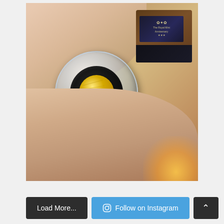[Figure (photo): A hand holding a small gold coin in a clear plastic capsule, with a wooden presentation box visible in the upper right background. The box has a dark velvet interior and a label. A warm golden light glow is visible at the bottom right.]
Load More...
Follow on Instagram